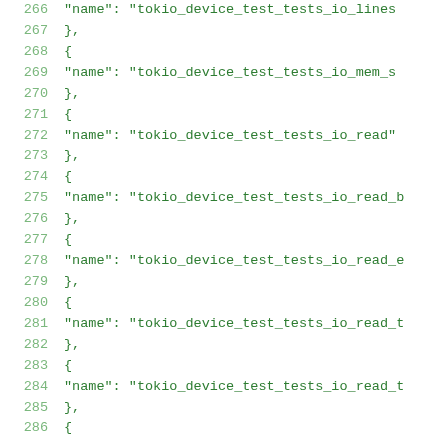266    "name": "tokio_device_test_tests_io_lines
267    },
268    {
269        "name": "tokio_device_test_tests_io_mem_s
270    },
271    {
272        "name": "tokio_device_test_tests_io_read"
273    },
274    {
275        "name": "tokio_device_test_tests_io_read_b
276    },
277    {
278        "name": "tokio_device_test_tests_io_read_e
279    },
280    {
281        "name": "tokio_device_test_tests_io_read_t
282    },
283    {
284        "name": "tokio_device_test_tests_io_read_t
285    },
286    {